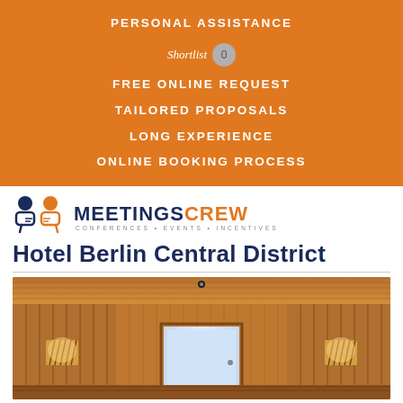PERSONAL ASSISTANCE
Shortlist 0
FREE ONLINE REQUEST
TAILORED PROPOSALS
LONG EXPERIENCE
ONLINE BOOKING PROCESS
[Figure (logo): MeetingsCrew logo with two figures icons and text 'MEETINGS CREW CONFERENCES • EVENTS • INCENTIVES']
Hotel Berlin Central District
[Figure (photo): Interior photo of a wooden sauna room with warm lighting, wooden slat walls and ceiling, wall sconces with decorative shades, and a door at the far end]